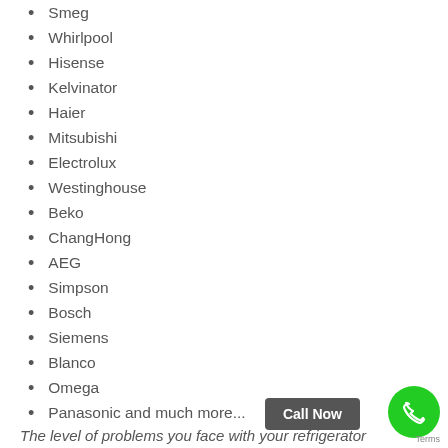Smeg
Whirlpool
Hisense
Kelvinator
Haier
Mitsubishi
Electrolux
Westinghouse
Beko
ChangHong
AEG
Simpson
Bosch
Siemens
Blanco
Omega
Panasonic and much more...
The level of problems you face with your refrigerator